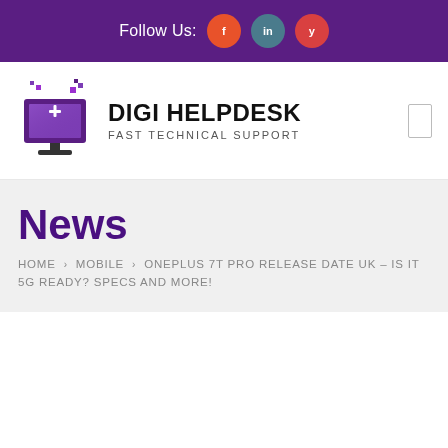Follow Us:
[Figure (logo): Digi Helpdesk logo with computer monitor icon and pixel graphics]
News
HOME › MOBILE › ONEPLUS 7T PRO RELEASE DATE UK – IS IT 5G READY? SPECS AND MORE!